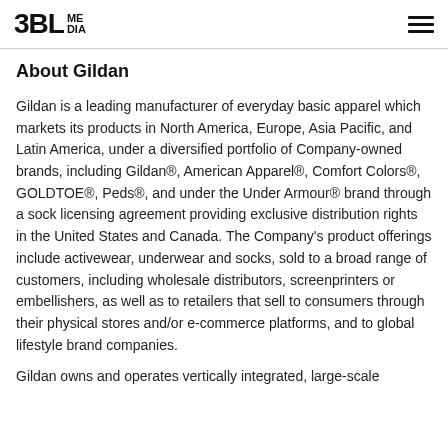3BL MEDIA
About Gildan
Gildan is a leading manufacturer of everyday basic apparel which markets its products in North America, Europe, Asia Pacific, and Latin America, under a diversified portfolio of Company-owned brands, including Gildan®, American Apparel®, Comfort Colors®, GOLDTOE®, Peds®, and under the Under Armour® brand through a sock licensing agreement providing exclusive distribution rights in the United States and Canada. The Company's product offerings include activewear, underwear and socks, sold to a broad range of customers, including wholesale distributors, screenprinters or embellishers, as well as to retailers that sell to consumers through their physical stores and/or e-commerce platforms, and to global lifestyle brand companies.
Gildan owns and operates vertically integrated, large-scale